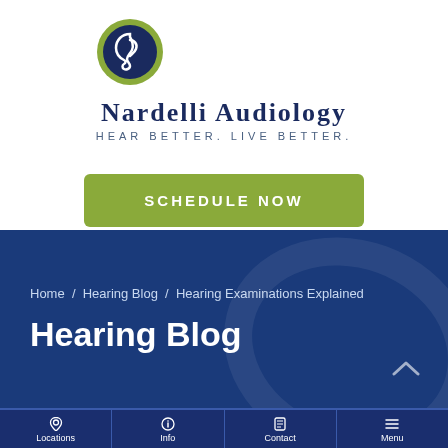[Figure (logo): Nardelli Audiology logo: dark blue circle with white stylized ear/S symbol, green outer ring, with company name 'NARDELLI AUDIOLOGY' and tagline 'HEAR BETTER. LIVE BETTER.']
SCHEDULE NOW
Home / Hearing Blog / Hearing Examinations Explained
Hearing Blog
Locations | Info | Contact | Menu